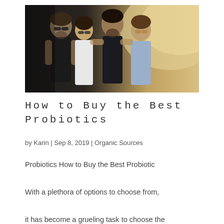[Figure (photo): Group of four friends laughing and hugging together outdoors, warm backlit scene]
How to Buy the Best Probiotics
by Karin | Sep 8, 2019 | Organic Sources
Probiotics How to Buy the Best Probiotic

With a plethora of options to choose from,

it has become a grueling task to choose the